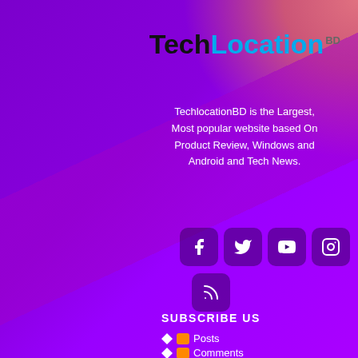TechLocation BD
TechlocationBD is the Largest, Most popular website based On Product Review, Windows and Android and Tech News.
[Figure (infographic): Social media icons: Facebook, Twitter, YouTube, Instagram, RSS feed]
SUBSCRIBE US
Posts
Comments
OTHER SERVICE